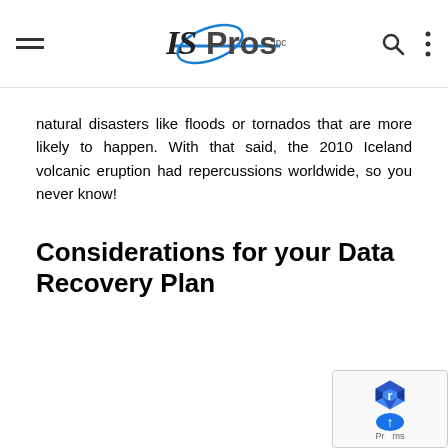[Figure (logo): ISPros Inc. logo — italic IS in black, Pros in dark grey bold, Inc in small text, with a blue swoosh/orbit graphic element and a horizontal blue line]
natural disasters like floods or tornados that are more likely to happen. With that said, the 2010 Iceland volcanic eruption had repercussions worldwide, so you never know!
Considerations for your Data Recovery Plan